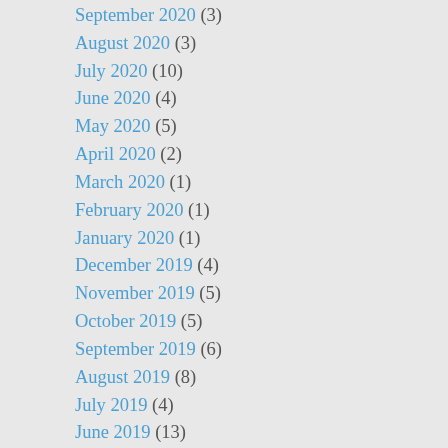September 2020 (3)
August 2020 (3)
July 2020 (10)
June 2020 (4)
May 2020 (5)
April 2020 (2)
March 2020 (1)
February 2020 (1)
January 2020 (1)
December 2019 (4)
November 2019 (5)
October 2019 (5)
September 2019 (6)
August 2019 (8)
July 2019 (4)
June 2019 (13)
May 2019 (4)
April 2019 (6)
March 2019 (19)
February 2019 (7)
January 2019 (9)